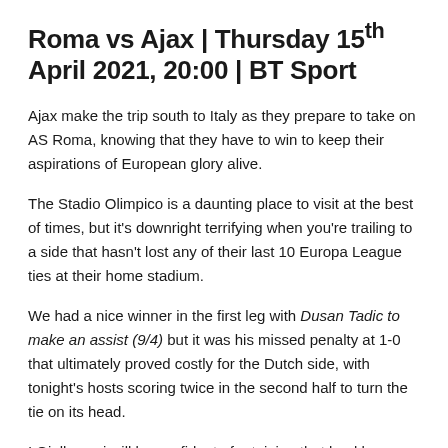Roma vs Ajax | Thursday 15th April 2021, 20:00 | BT Sport
Ajax make the trip south to Italy as they prepare to take on AS Roma, knowing that they have to win to keep their aspirations of European glory alive.
The Stadio Olimpico is a daunting place to visit at the best of times, but it's downright terrifying when you're trailing to a side that hasn't lost any of their last 10 Europa League ties at their home stadium.
We had a nice winner in the first leg with Dusan Tadic to make an assist (9/4) but it was his missed penalty at 1-0 that ultimately proved costly for the Dutch side, with tonight's hosts scoring twice in the second half to turn the tie on its head.
I Giallorossi will be confident of retaining that lead here too, seeing as they've won four Europa League games in a row on…